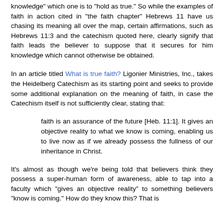knowledge" which one is to "hold as true." So while the examples of faith in action cited in "the faith chapter" Hebrews 11 have us chasing its meaning all over the map, certain affirmations, such as Hebrews 11:3 and the catechism quoted here, clearly signify that faith leads the believer to suppose that it secures for him knowledge which cannot otherwise be obtained.
In an article titled What is true faith? Ligonier Ministries, Inc., takes the Heidelberg Catechism as its starting point and seeks to provide some additional explanation on the meaning of faith, in case the Catechism itself is not sufficiently clear, stating that:
faith is an assurance of the future [Heb. 11:1]. It gives an objective reality to what we know is coming, enabling us to live now as if we already possess the fullness of our inheritance in Christ.
It's almost as though we're being told that believers think they possess a super-human form of awareness, able to tap into a faculty which "gives an objective reality" to something believers "know is coming." How do they know this? That is